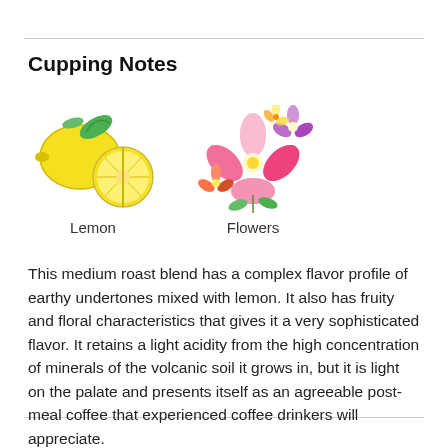Cupping Notes
[Figure (illustration): Two illustrations side by side: lemons (whole and sliced) labeled 'Lemon', and pink/colorful flowers labeled 'Flowers']
This medium roast blend has a complex flavor profile of earthy undertones mixed with lemon. It also has fruity and floral characteristics that gives it a very sophisticated flavor. It retains a light acidity from the high concentration of minerals of the volcanic soil it grows in, but it is light on the palate and presents itself as an agreeable post-meal coffee that experienced coffee drinkers will appreciate.